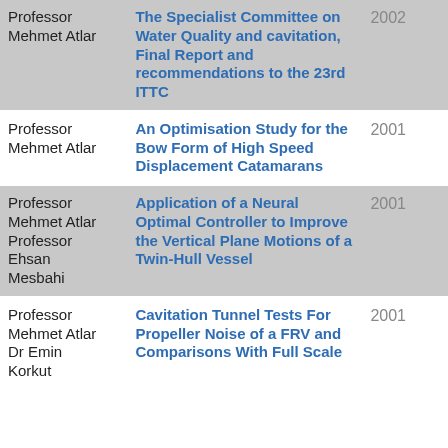| Author | Title | Year |
| --- | --- | --- |
| Professor Mehmet Atlar | The Specialist Committee on Water Quality and cavitation, Final Report and recommendations to the 23rd ITTC | 2002 |
| Professor Mehmet Atlar | An Optimisation Study for the Bow Form of High Speed Displacement Catamarans | 2001 |
| Professor Mehmet Atlar
Professor Ehsan Mesbahi | Application of a Neural Optimal Controller to Improve the Vertical Plane Motions of a Twin-Hull Vessel | 2001 |
| Professor Mehmet Atlar
Dr Emin Korkut | Cavitation Tunnel Tests For Propeller Noise of a FRV and Comparisons With Full Scale | 2001 |